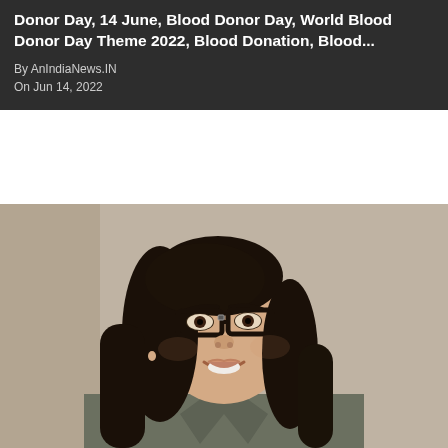Donor Day, 14 June, Blood Donor Day, World Blood Donor Day Theme 2022, Blood Donation, Blood...
By AnIndiaNews.IN
On Jun 14, 2022
[Figure (photo): A young woman with long dark hair, wearing black-rimmed glasses and a dark olive/grey collared shirt, smiling and looking slightly downward. The background is blurred beige/grey.]